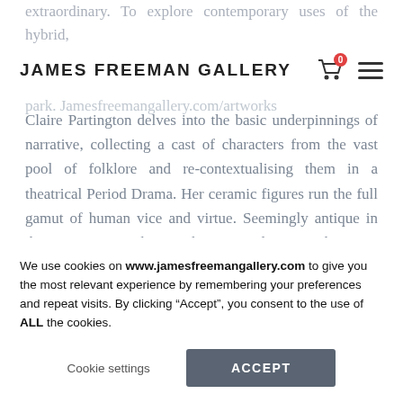extraordinary. To explore contemporary uses of the hybrid, to rediscover age-old archetypes, and to reconfigure them in [partially visible text]
JAMES FREEMAN GALLERY
Claire Partington delves into the basic underpinnings of narrative, collecting a cast of characters from the vast pool of folklore and re-contextualising them in a theatrical Period Drama. Her ceramic figures run the full gamut of human vice and virtue. Seemingly antique in their appearance, her works are made using the same materials as 17th Century English Delftware, with interchangeable heads alluding to 19th Century Martinware grotesques. Echoing the constant theme of zoomorphism in fairytales, these characters shape-shift at
We use cookies on www.jamesfreemangallery.com to give you the most relevant experience by remembering your preferences and repeat visits. By clicking “Accept”, you consent to the use of ALL the cookies.